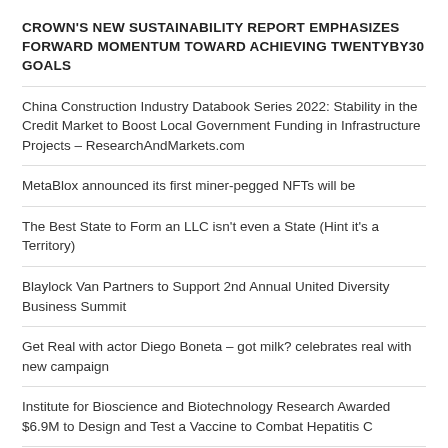CROWN'S NEW SUSTAINABILITY REPORT EMPHASIZES FORWARD MOMENTUM TOWARD ACHIEVING TWENTYBY30 GOALS
China Construction Industry Databook Series 2022: Stability in the Credit Market to Boost Local Government Funding in Infrastructure Projects – ResearchAndMarkets.com
MetaBlox announced its first miner-pegged NFTs will be
The Best State to Form an LLC isn't even a State (Hint it's a Territory)
Blaylock Van Partners to Support 2nd Annual United Diversity Business Summit
Get Real with actor Diego Boneta – got milk? celebrates real with new campaign
Institute for Bioscience and Biotechnology Research Awarded $6.9M to Design and Test a Vaccine to Combat Hepatitis C